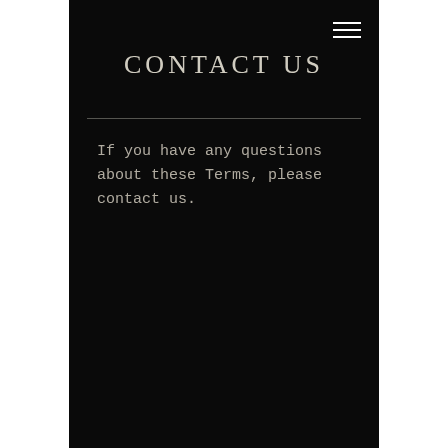≡
CONTACT US
If you have any questions about these Terms, please contact us.